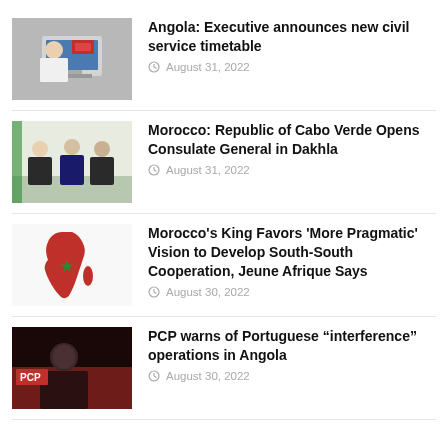[Figure (photo): Person sitting at a computer desk, working on a monitor]
Angola: Executive announces new civil service timetable
August 31, 2022
[Figure (photo): Three men in suits standing and talking]
Morocco: Republic of Cabo Verde Opens Consulate General in Dakhla
August 31, 2022
[Figure (illustration): Red silhouette of Africa continent on white background with green star]
Morocco’s King Favors ‘More Pragmatic’ Vision to Develop South-South Cooperation, Jeune Afrique Says
August 30, 2022
[Figure (photo): Man in dark setting with PCP logo visible in background]
PCP warns of Portuguese “interference” operations in Angola
August 30, 2022